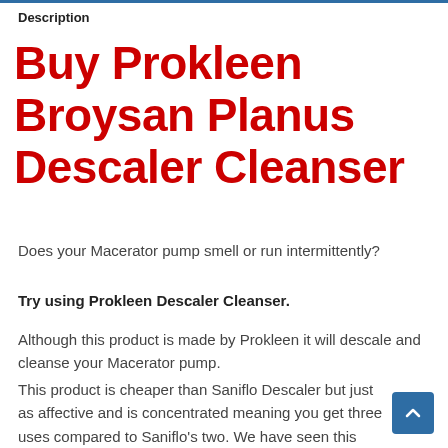Description
Buy Prokleen Broysan Planus Descaler Cleanser
Does your Macerator pump smell or run intermittently?
Try using Prokleen Descaler Cleanser.
Although this product is made by Prokleen it will descale and cleanse your Macerator pump.
This product is cheaper than Saniflo Descaler but just as affective and is concentrated meaning you get three uses compared to Saniflo's two. We have seen this product in use on various jobs lately with great results.